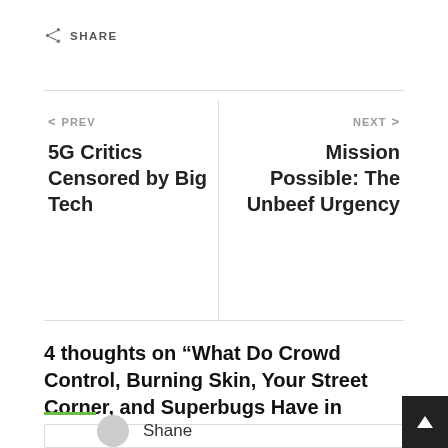SHARE
< PREV
5G Critics Censored by Big Tech
NEXT >
Mission Possible: The Unbeef Urgency
4 thoughts on “What Do Crowd Control, Burning Skin, Your Street Corner, and Superbugs Have in Common?”
Shane